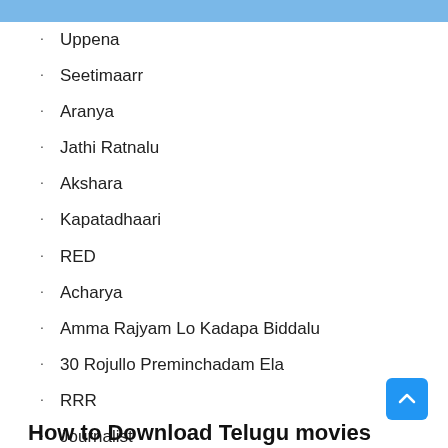Uppena
Seetimaarr
Aranya
Jathi Ratnalu
Akshara
Kapatadhaari
RED
Acharya
Amma Rajyam Lo Kadapa Biddalu
30 Rojullo Preminchadam Ela
RRR
Journalist
Master
How to Download Telugu movies